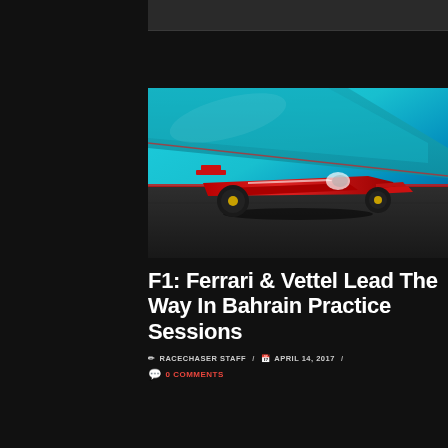[Figure (photo): A red Ferrari Formula 1 car driven by Vettel on the Bahrain circuit track, with teal/blue track barriers in the background and dark tarmac surface.]
F1: Ferrari & Vettel Lead The Way In Bahrain Practice Sessions
✏ RACECHASER STAFF / 📅 APRIL 14, 2017 / 💬 0 COMMENTS